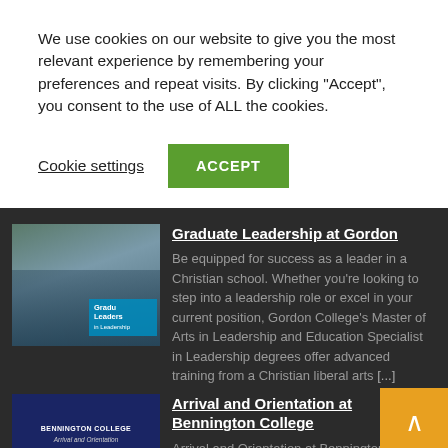We use cookies on our website to give you the most relevant experience by remembering your preferences and repeat visits. By clicking "Accept", you consent to the use of ALL the cookies.
Cookie settings
ACCEPT
[Figure (photo): Thumbnail image of a student for Gordon College graduate leadership program]
Graduate Leadership at Gordon
Be equipped for success as a leader in a Christian school. Whether you're looking to step into a leadership role or excel in your current position, Gordon College's Master of Arts in Leadership and Education Specialist in Leadership degrees offer advanced training from a Christian liberal arts [...]
[Figure (photo): Thumbnail image showing Bennington College book or booklet cover]
Arrival and Orientation at Bennington College
Arrival and Orientation at Bennington